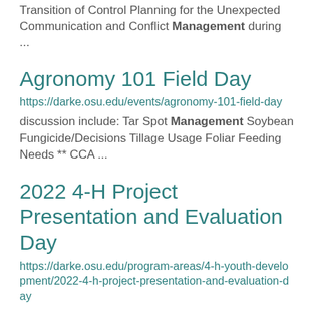Transition of Control Planning for the Unexpected Communication and Conflict Management during ...
Agronomy 101 Field Day
https://darke.osu.edu/events/agronomy-101-field-day
discussion include: Tar Spot Management Soybean Fungicide/Decisions Tillage Usage Foliar Feeding Needs ** CCA ...
2022 4-H Project Presentation and Evaluation Day
https://darke.osu.edu/program-areas/4-h-youth-development/2022-4-h-project-presentation-and-evaluation-day